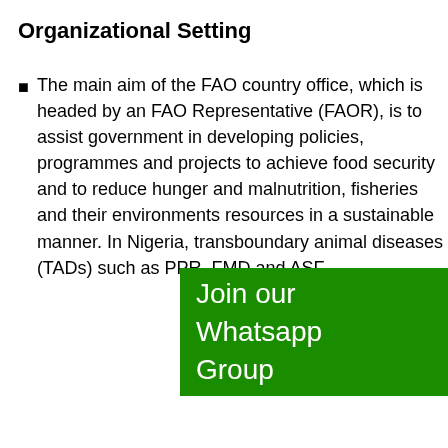Organizational Setting
The main aim of the FAO country office, which is headed by an FAO Representative (FAOR), is to assist government in developing policies, programmes and projects to achieve food security and to reduce hunger and malnutrition, fisheries and their environments resources in a sustainable manner. In Nigeria, transboundary animal diseases (TADs) such as PPR, FMD and ASF,
[Figure (other): Green overlay banner with text 'Join our Whatsapp Group']